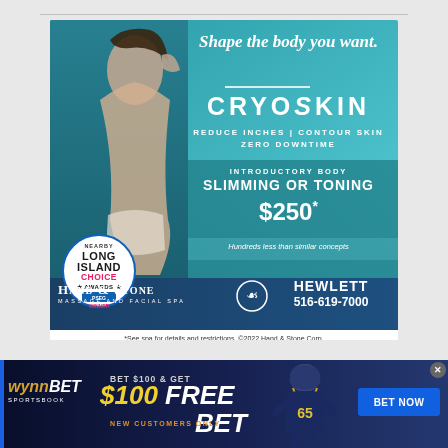[Figure (advertisement): Hand & Stone Massage and Facial Spa advertisement featuring CryoSkin body slimming/toning service. Shows a woman in white underwear posing, with text: 'Shape the body you want.', 'CRYOSKIN', 'REDUCE INCHES | CONTOUR SKIN', 'ZERO DOWNTIME', 'INTRODUCTORY BODY SLIMMING OR TONING $250*', 'Hundreds less than similar concepts'. Long Island Choice Awards winner badge. Bottom section: Hand & Stone Massage and Facial Spa logo, HEWLETT, 516-619-7000. Disclaimer: '*See spa for details and restrictions. ©2022 Hand & Stone Corp.']
[Figure (advertisement): WynnBET Sportsbook advertisement. Text: 'BET $100 & GET', '$100 FREE BET', 'NEW CUSTOMERS ONLY'. Shows football player. 'BET NOW' button. Close (X) button in corner.]